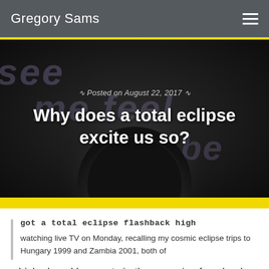Gregory Sams
[Figure (photo): Dark hero image showing a total solar eclipse with glowing corona against a dark background. Background has faint purple/lavender italic text reading 'see me feel be'. Overlaid text shows the post date and article title.]
Why does a total eclipse excite us so?
Posted on August 22, 2017
got a total eclipse flashback high watching live TV on Monday, recalling my cosmic eclipse trips to Hungary 1999 and Zambia 2001, both of which played key parts in the genesis of my book Sun of